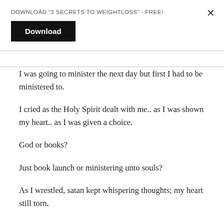DOWNLOAD “3 SECRETS TO WEIGHTLOSS” - FREE!
Download
I was going to minister the next day but first I had to be ministered to.
I cried as the Holy Spirit dealt with me.. as I was shown my heart.. as I was given a choice.
God or books?
Just book launch or ministering unto souls?
As I wrestled, satan kept whispering thoughts; my heart still torn.